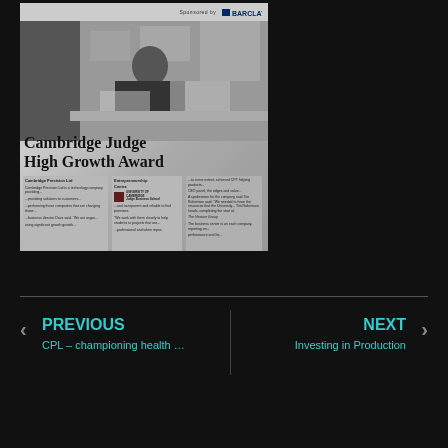[Figure (photo): Newspaper article photograph showing a man leaning over a desk/workbench. Below the photo is a newspaper article with headline 'Cambridge Judge High Growth Award' featuring University of Cambridge Judge Business School logo and small article text. A Barclays sponsorship banner appears at the top.]
PREVIOUS
CPL – championing health …
NEXT
Investing in Production